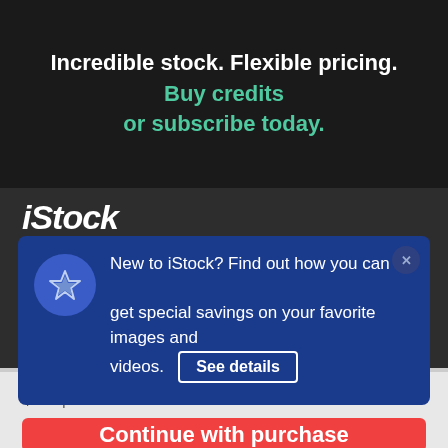Incredible stock. Flexible pricing. Buy credits or subscribe today.
iStock
New to iStock? Find out how you can get special savings on your favorite images and videos. See details
$12 | 1 credit
Continue with purchase